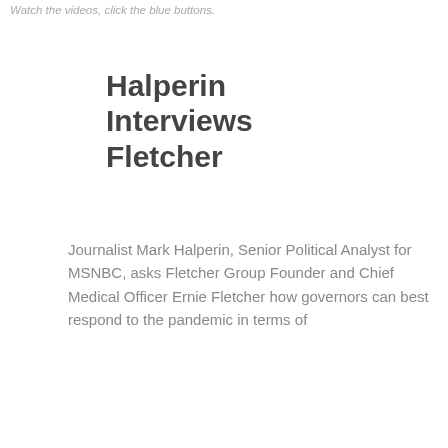Watch the videos, click the blue buttons.
Halperin Interviews Fletcher
Journalist Mark Halperin, Senior Political Analyst for MSNBC, asks Fletcher Group Founder and Chief Medical Officer Ernie Fletcher how governors can best respond to the pandemic in terms of